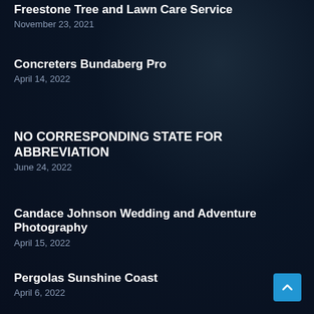Freestone Tree and Lawn Care Service
November 23, 2021
Concreters Bundaberg Pro
April 14, 2022
NO CORRESPONDING STATE FOR ABBREVIATION
June 24, 2022
Candace Johnson Wedding and Adventure Photography
April 15, 2022
Pergolas Sunshine Coast
April 6, 2022